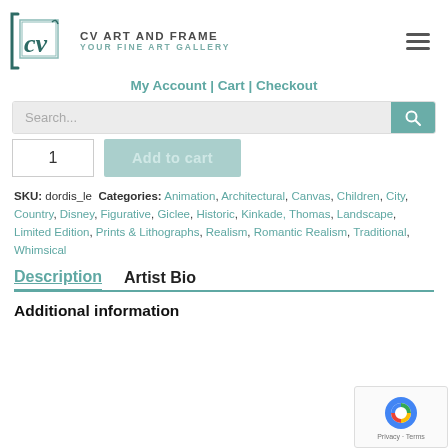[Figure (logo): CV Art and Frame logo with stylized CV letters in teal/dark green square frame, followed by text 'CV Art and Frame' and 'Your Fine Art Gallery']
My Account | Cart | Checkout
Search...
1  Add to cart
SKU: dordis_le  Categories: Animation, Architectural, Canvas, Children, City, Country, Disney, Figurative, Giclee, Historic, Kinkade, Thomas, Landscape, Limited Edition, Prints & Lithographs, Realism, Romantic Realism, Traditional, Whimsical
Description    Artist Bio
Additional information